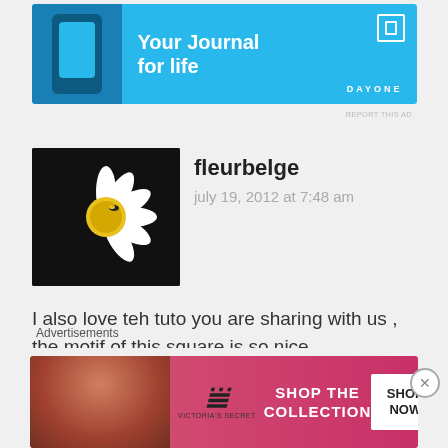[Figure (screenshot): DayOne app advertisement banner — blue background with text 'Your Journal for life' and DayOne logo]
REPORT THIS AD
fleurbelge
july 19, 2012 at 7:48 am
[Figure (photo): Avatar photo of a daisy flower with a bee on a black background]
I also love teh tuto you are sharing with us , the motif of this square is so nice ,
bravo for the lovelly Blanket!
FleurBelge
Like
Reply
Advertisements
[Figure (screenshot): Victoria's Secret advertisement — pink background with VS logo, 'SHOP THE COLLECTION' text and 'SHOP NOW' button]